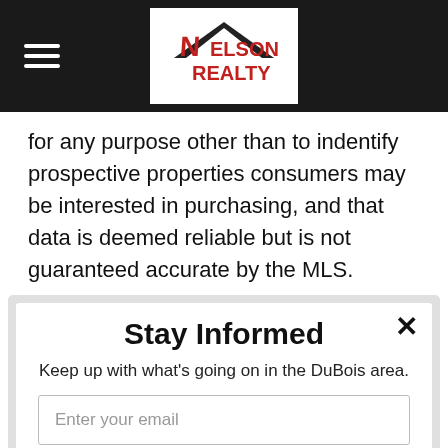Nelson Realty
for any purpose other than to indentify prospective properties consumers may be interested in purchasing, and that data is deemed reliable but is not guaranteed accurate by the MLS.
Stay Informed
Keep up with what's going on in the DuBois area.
Enter your email
SUBSCRIBE TODAY!
powered by MailMunch